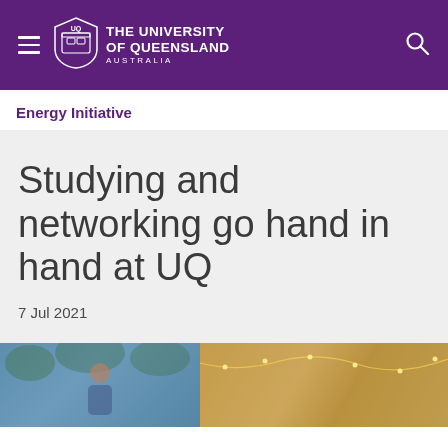The University Of Queensland Australia
Energy Initiative
Studying and networking go hand in hand at UQ
7 Jul 2021
[Figure (photo): Photo strip showing two images: left image of a person outdoors, right image of a warm-lit indoor scene with string lights]